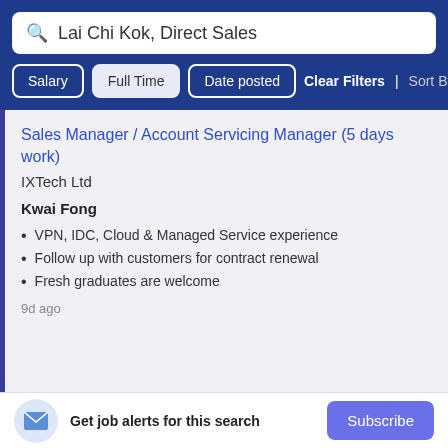Lai Chi Kok, Direct Sales
Salary | Full Time | Date posted | Clear Filters | Sort By Rele...
Sales Manager / Account Servicing Manager (5 days work)
IXTech Ltd
Kwai Fong
VPN, IDC, Cloud & Managed Service experience
Follow up with customers for contract renewal
Fresh graduates are welcome
9d ago
Get job alerts for this search